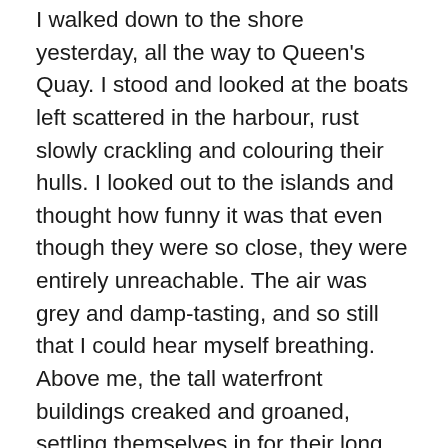I walked down to the shore yesterday, all the way to Queen's Quay. I stood and looked at the boats left scattered in the harbour, rust slowly crackling and colouring their hulls. I looked out to the islands and thought how funny it was that even though they were so close, they were entirely unreachable. The air was grey and damp-tasting, and so still that I could hear myself breathing. Above me, the tall waterfront buildings creaked and groaned, settling themselves in for their long crumbling journey into decay.

I used to feel as though I was waiting for something to happen, as though I could be rescued at any moment. I pulled myself through my days, moving from activity to activity, determined to fill up my hours until normal life was miraculously restored. Now I carry on for the simple reason that I am used to carrying on, because I am better